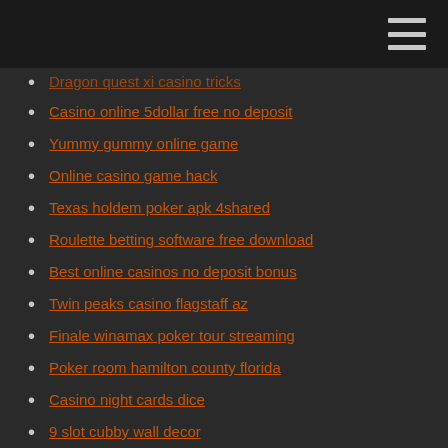Dragon quest xi casino tricks
Casino online 5dollar free no deposit
Yummy gummy online game
Online casino game hack
Texas holdem poker apk 4shared
Roulette betting software free download
Best online casinos no deposit bonus
Twin peaks casino flagstaff az
Finale winamax poker tour streaming
Poker room hamilton county florida
Casino night cards dice
9 slot cubby wall decor
Wheel of fortune pc online
Come avere 5 slot warrock
Shuffle cats free game